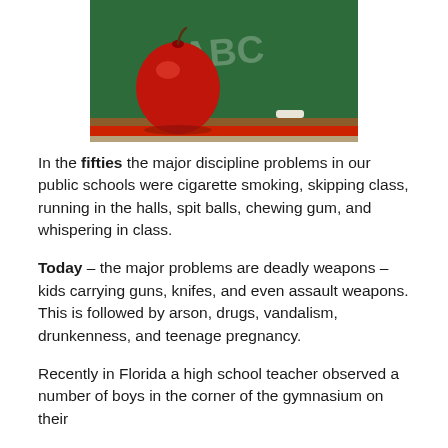[Figure (photo): Photo of a red apple sitting on a chalkboard ledge in front of a green chalkboard with chalk writing, and a piece of chalk resting on the ledge.]
In the fifties the major discipline problems in our public schools were cigarette smoking, skipping class, running in the halls, spit balls, chewing gum, and whispering in class.
Today – the major problems are deadly weapons – kids carrying guns, knifes, and even assault weapons. This is followed by arson, drugs, vandalism, drunkenness, and teenage pregnancy.
Recently in Florida a high school teacher observed a number of boys in the corner of the gymnasium on their